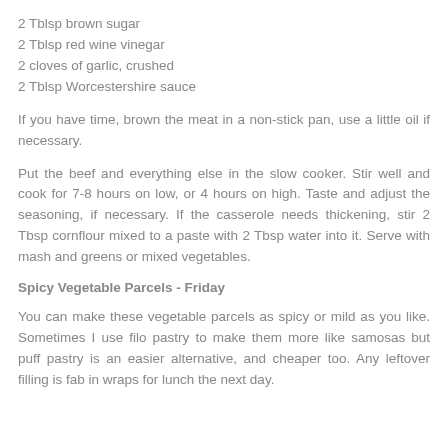2 Tblsp brown sugar
2 Tblsp red wine vinegar
2 cloves of garlic, crushed
2 Tblsp Worcestershire sauce
If you have time, brown the meat in a non-stick pan, use a little oil if necessary.
Put the beef and everything else in the slow cooker. Stir well and cook for 7-8 hours on low, or 4 hours on high. Taste and adjust the seasoning, if necessary. If the casserole needs thickening, stir 2 Tbsp cornflour mixed to a paste with 2 Tbsp water into it. Serve with mash and greens or mixed vegetables.
Spicy Vegetable Parcels - Friday
You can make these vegetable parcels as spicy or mild as you like. Sometimes I use filo pastry to make them more like samosas but puff pastry is an easier alternative, and cheaper too. Any leftover filling is fab in wraps for lunch the next day.